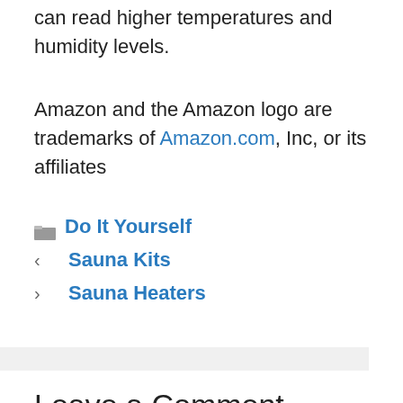can read higher temperatures and humidity levels.
Amazon and the Amazon logo are trademarks of Amazon.com, Inc, or its affiliates
Do It Yourself
Sauna Kits
Sauna Heaters
Leave a Comment
You must be logged in to post a comment.